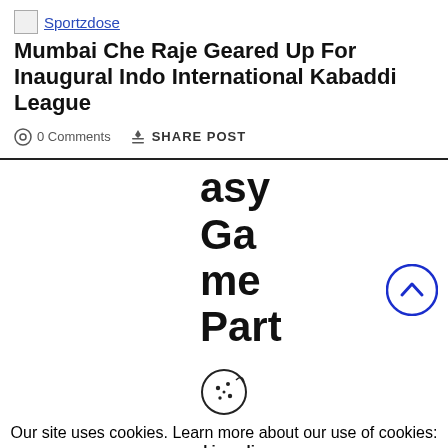Sportzdose
Mumbai Che Raje Geared Up For Inaugural Indo International Kabaddi League
0 Comments   SHARE POST
asy Game Partner for T20
Our site uses cookies. Learn more about our use of cookies: cookie policy